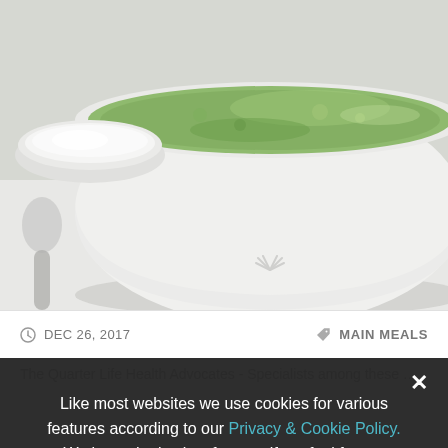[Figure (photo): A white ceramic bowl filled with green blended soup (likely broccoli or spinach soup), with a smaller white bowl of cream or white sauce in the background and a metal spoon to the left, on a light surface.]
DEC 26, 2017    MAIN MEALS
Like most websites we use cookies for various features according to our Privacy & Cookie Policy. We hope that's okey for you, if not feel free to disable cookies in your browser.
Accept Cookies